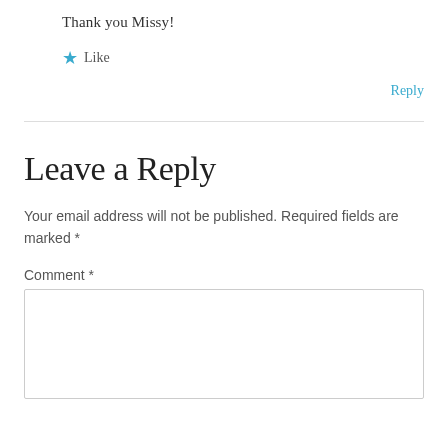Thank you Missy!
★ Like
Reply
Leave a Reply
Your email address will not be published. Required fields are marked *
Comment *